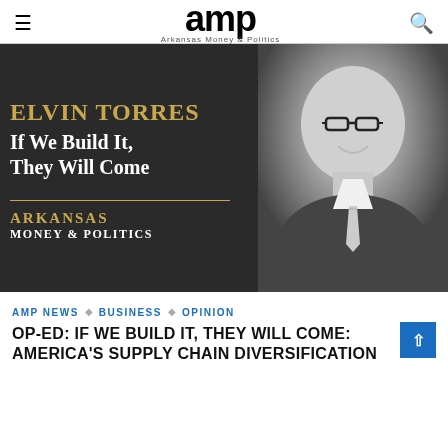amp — Arkansas Money & Politics
[Figure (photo): Black and white composite image showing a book or publication cover on the left with text 'ELVIN TORRES', 'If We Build It, They Will Come', 'ARKANSAS MONEY & POLITICS', and a professional headshot of a smiling man in glasses, suit and tie on the right.]
AMP NEWS
BUSINESS
OPINION
OP-ED: IF WE BUILD IT, THEY WILL COME: AMERICA'S SUPPLY CHAIN DIVERSIFICATION